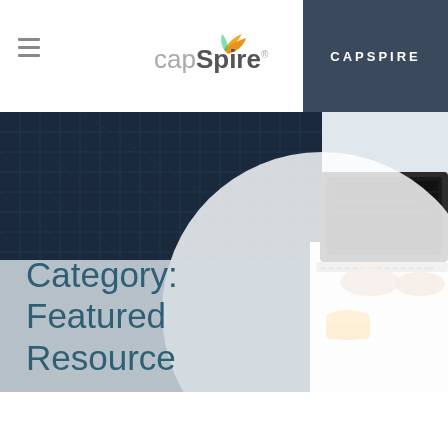capSpire | CAPSPIRE
[Figure (screenshot): Hero banner image showing a person typing on a laptop from above, with a cup of coffee on a white desk surface. Left portion has a dark navy blue grid/lattice textured background. Right portion shows the laptop photo. A large white circle overlaps the two sections.]
Category: Featured Resource